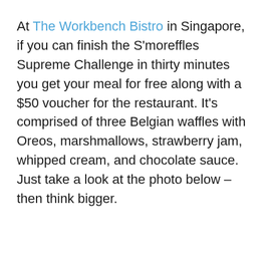At The Workbench Bistro in Singapore, if you can finish the S'moreffles Supreme Challenge in thirty minutes you get your meal for free along with a $50 voucher for the restaurant. It's comprised of three Belgian waffles with Oreos, marshmallows, strawberry jam, whipped cream, and chocolate sauce. Just take a look at the photo below – then think bigger.